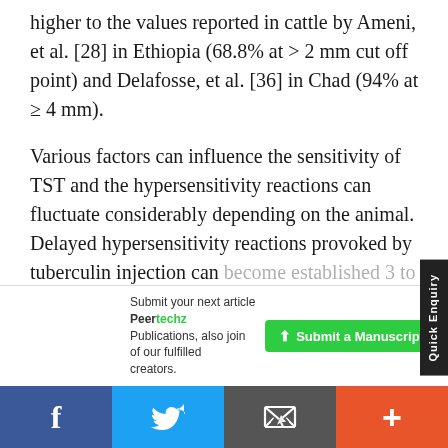higher to the values reported in cattle by Ameni, et al. [28] in Ethiopia (68.8% at > 2 mm cut off point) and Delafosse, et al. [36] in Chad (94% at ≥ 4 mm).
Various factors can influence the sensitivity of TST and the hypersensitivity reactions can fluctuate considerably depending on the animal. Delayed hypersensitivity reactions provoked by tuberculin injection can become established 3 to 6 weeks after